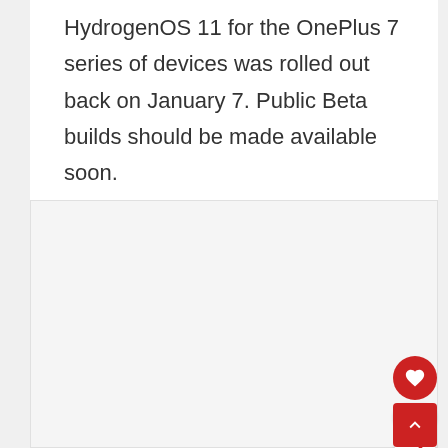HydrogenOS 11 for the OnePlus 7 series of devices was rolled out back on January 7. Public Beta builds should be made available soon.
[Figure (other): A large light gray image placeholder box below the text content, with social interaction buttons (like heart icon with count 4, and share icon) overlaid on the right side, plus a red scroll-to-top button at the bottom right.]